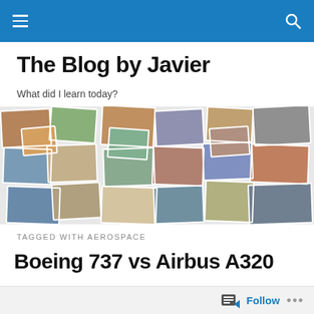The Blog by Javier – navigation bar
The Blog by Javier
What did I learn today?
[Figure (photo): Collage of travel photos showing various destinations and people]
TAGGED WITH AEROSPACE
Boeing 737 vs Airbus A320
Follow